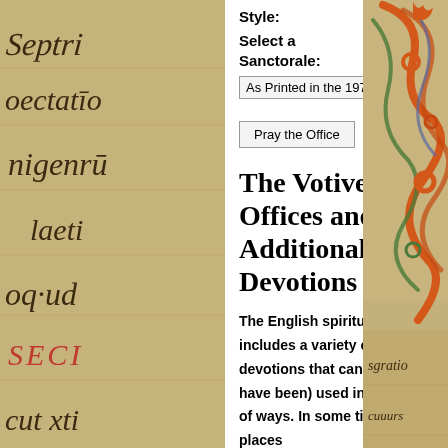[Figure (illustration): Left panel showing an aged parchment manuscript page with medieval Latin text in dark brown ink in an italic script. Words visible include 'Septri', 'oectatio', 'nigenr', 'laeti', 'oq-ud', 'SECI', 'cut xt'. Some text appears in red ink.]
Style:
Select a Sanctorale:
As Printed in the 1979
Pray the Office
The Votive Offices and Additional Devotions
The English spiritual tradition includes a variety of liturgical devotions that can be (and have been) used in a variety of ways. In some times and places
[Figure (illustration): Right panel showing an illuminated manuscript initial letter with ornate decorative scrollwork in orange, green, blue, and brown on a parchment background. Partial Latin text visible at the bottom: 'sgratio', 'cuuurs'.]